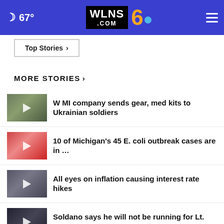67° WLNS6.COM
Top Stories ›
MORE STORIES ›
W MI company sends gear, med kits to Ukrainian soldiers
10 of Michigan's 45 E. coli outbreak cases are in …
All eyes on inflation causing interest rate hikes
Soldano says he will not be running for Lt. Governor
When is my child old enough for a cell phone?